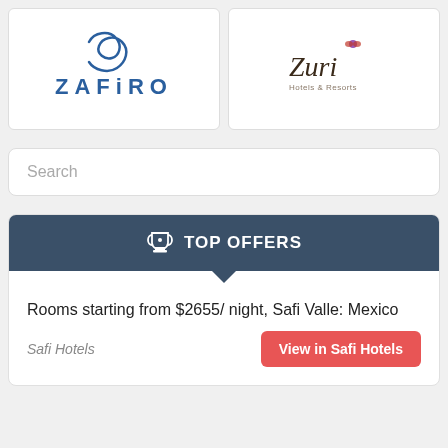[Figure (logo): Zafiro Hotels logo with stylized Z wave graphic and text ZAFIRO in blue caps]
[Figure (logo): Zuri Hotels & Resorts logo in cursive script with small butterfly graphic]
Search
TOP OFFERS
Rooms starting from $2655/ night, Safi Valle: Mexico
Safi Hotels
View in Safi Hotels